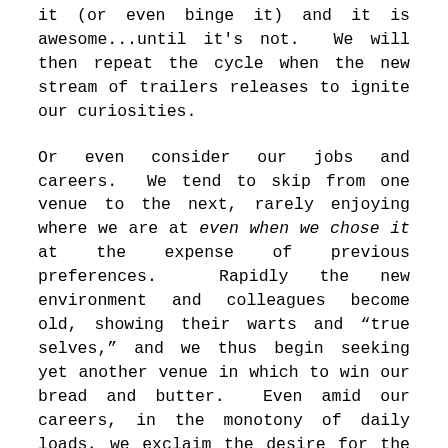it (or even binge it) and it is awesome...until it's not.  We will then repeat the cycle when the new stream of trailers releases to ignite our curiosities.
Or even consider our jobs and careers.  We tend to skip from one venue to the next, rarely enjoying where we are at even when we chose it at the expense of previous preferences.  Rapidly the new environment and colleagues become old, showing their warts and "true selves," and we thus begin seeking yet another venue in which to win our bread and butter.  Even amid our careers, in the monotony of daily loads, we exclaim the desire for the novel: "I can't wait to get out of this place," or "I can't wait for the weekend," or "I can't wait for a vacation," or "I can't wait for retirement."  Again, we seem to be unpleased with being pleased.